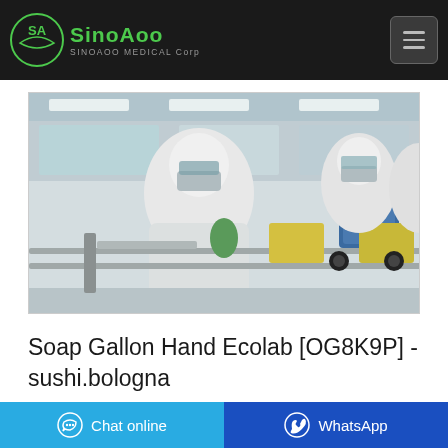SinoAoo MEDICAL Corp
[Figure (photo): Workers in white cleanroom suits and masks working on a manufacturing/packaging line in a medical or pharmaceutical facility. Machinery with metal rails visible in the foreground.]
Soap Gallon Hand Ecolab [OG8K9P] - sushi.bologna
Chat online
WhatsApp